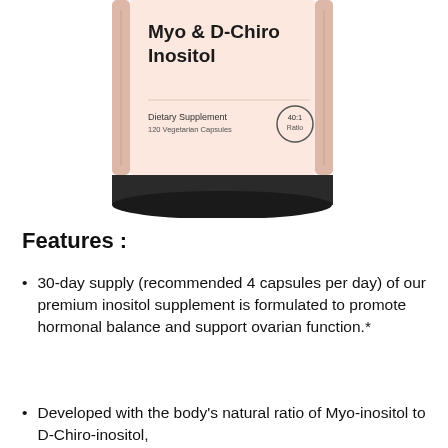[Figure (photo): Product bottle of Myo & D-Chiro Inositol dietary supplement, 120 vegetarian capsules, 40:1 ratio, shown from the front with a peach/salmon colored label and black cap]
Features :
30-day supply (recommended 4 capsules per day) of our premium inositol supplement is formulated to promote hormonal balance and support ovarian function.*
Developed with the body’s natural ratio of Myo-inositol to D-Chiro-inositol,